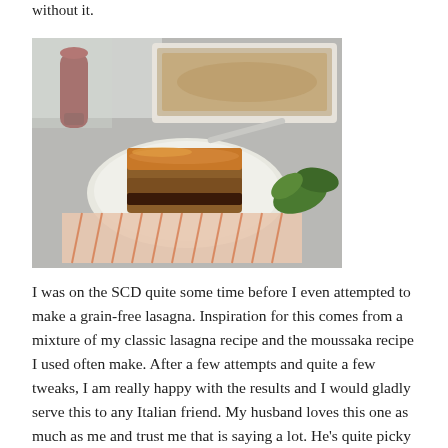without it.
[Figure (photo): A slice of grain-free lasagna/moussaka on a white plate, placed on a folded orange patterned cloth napkin, with a baking dish of the full casserole visible in the background, and fresh basil leaves on the right side.]
I was on the SCD quite some time before I even attempted to make a grain-free lasagna. Inspiration for this comes from a mixture of my classic lasagna recipe and the moussaka recipe I used often make. After a few attempts and quite a few tweaks, I am really happy with the results and I would gladly serve this to any Italian friend. My husband loves this one as much as me and trust me that is saying a lot. He's quite picky